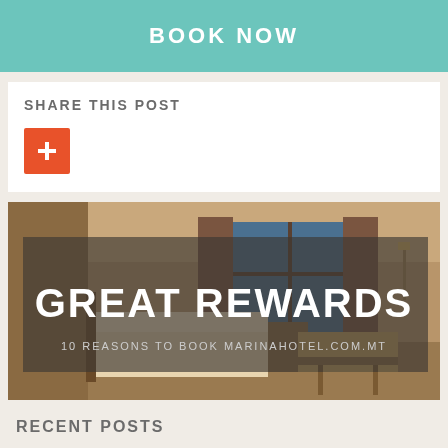BOOK NOW
SHARE THIS POST
[Figure (other): Red plus/add button icon]
[Figure (photo): Hotel room interior with overlay text reading GREAT REWARDS and subtitle 10 REASONS TO BOOK MARINAHOTEL.COM.MT]
RECENT POSTS